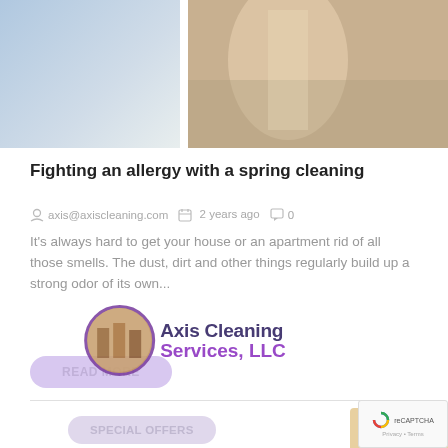[Figure (photo): Two-panel image at top: left panel shows a light blue/white cleaning scene, right panel shows a person holding cleaning supplies in colorful clothing]
Fighting an allergy with a spring cleaning
axis@axiscleaning.com   2 years ago   0
It's always hard to get your house or an apartment rid of all those smells. The dust, dirt and other things regularly build up a strong odor of its own...
READ MORE
[Figure (logo): Axis Cleaning Services LLC watermark logo overlay with circular photo and text]
SPECIAL OFFERS
[Figure (photo): Bottom partial image of cleaning related content]
[Figure (screenshot): reCAPTCHA widget in bottom right corner]